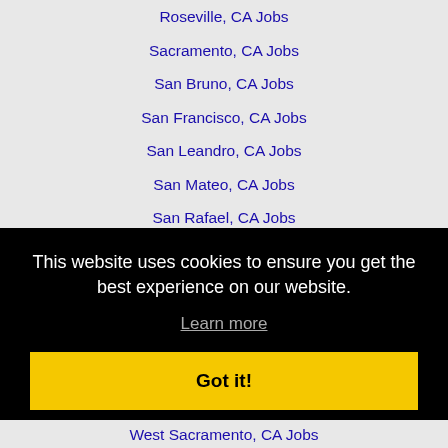Roseville, CA Jobs
Sacramento, CA Jobs
San Bruno, CA Jobs
San Francisco, CA Jobs
San Leandro, CA Jobs
San Mateo, CA Jobs
San Rafael, CA Jobs
San Ramon, CA Jobs
Santa Clara, CA Jobs
South San Francisco, CA Jobs
This website uses cookies to ensure you get the best experience on our website.
Learn more
Got it!
West Sacramento, CA Jobs